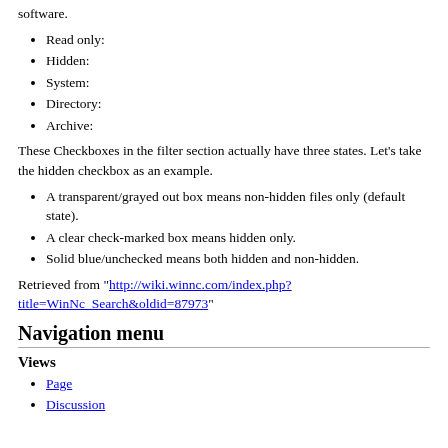software.
Read only:
Hidden:
System:
Directory:
Archive:
These Checkboxes in the filter section actually have three states. Let's take the hidden checkbox as an example.
A transparent/grayed out box means non-hidden files only (default state).
A clear check-marked box means hidden only.
Solid blue/unchecked means both hidden and non-hidden.
Retrieved from "http://wiki.winnc.com/index.php?title=WinNc_Search&oldid=87973"
Navigation menu
Views
Page
Discussion